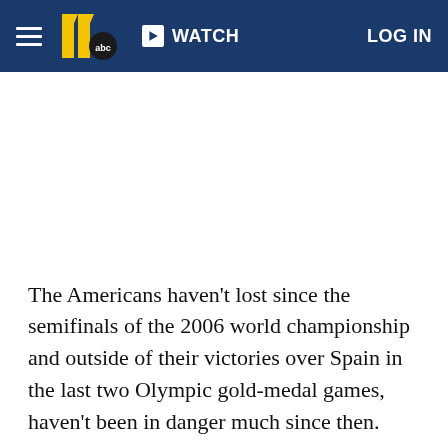≡  11abc  ▶ WATCH  LOG IN
The Americans haven't lost since the semifinals of the 2006 world championship and outside of their victories over Spain in the last two Olympic gold-medal games, haven't been in danger much since then.